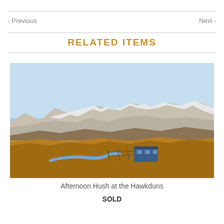< Previous
Next >
RELATED ITEMS
[Figure (photo): Landscape photograph showing golden grasslands in the foreground with a small blue building/shed near a winding stream, and snow-capped mountains under a clear blue sky in the background.]
Afternoon Hush at the Hawkduns
SOLD